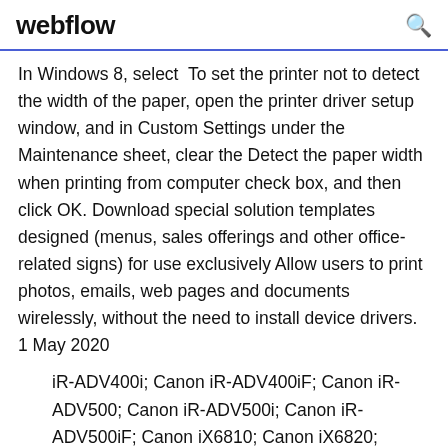webflow
In Windows 8, select  To set the printer not to detect the width of the paper, open the printer driver setup window, and in Custom Settings under the Maintenance sheet, clear the Detect the paper width when printing from computer check box, and then click OK. Download special solution templates designed (menus, sales offerings and other office-related signs) for use exclusively Allow users to print photos, emails, web pages and documents wirelessly, without the need to install device drivers. 1 May 2020
iR-ADV400i; Canon iR-ADV400iF; Canon iR-ADV500; Canon iR-ADV500i; Canon iR-ADV500iF; Canon iX6810; Canon iX6820; Canon